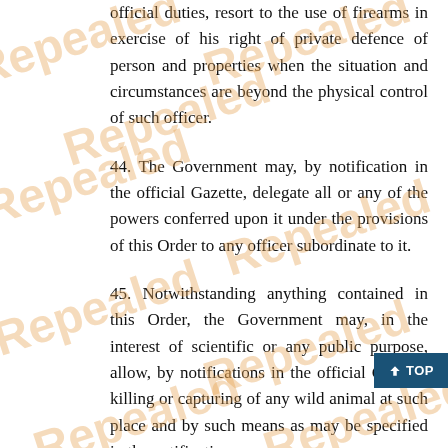official duties, resort to the use of firearms in exercise of his right of private defence of person and properties when the situation and circumstances are beyond the physical control of such officer.
44. The Government may, by notification in the official Gazette, delegate all or any of the powers conferred upon it under the provisions of this Order to any officer subordinate to it.
45. Notwithstanding anything contained in this Order, the Government may, in the interest of scientific or any public purpose, allow, by notifications in the official Gazette, killing or capturing of any wild animal at such place and by such means as may be specified in the notification.
46. The Government may, by notification in